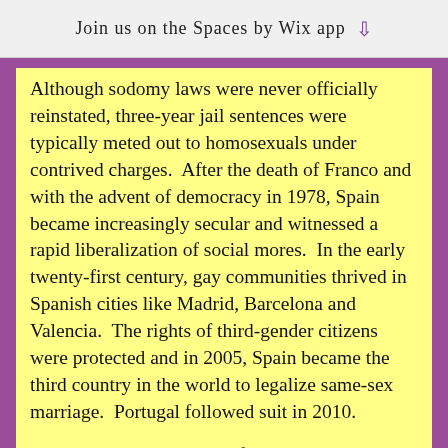Join us on the Spaces by Wix app
Although sodomy laws were never officially reinstated, three-year jail sentences were typically meted out to homosexuals under contrived charges.  After the death of Franco and with the advent of democracy in 1978, Spain became increasingly secular and witnessed a rapid liberalization of social mores.  In the early twenty-first century, gay communities thrived in Spanish cities like Madrid, Barcelona and Valencia.  The rights of third-gender citizens were protected and in 2005, Spain became the third country in the world to legalize same-sex marriage.  Portugal followed suit in 2010.
(Tritiya-Prakriti: People of the Third